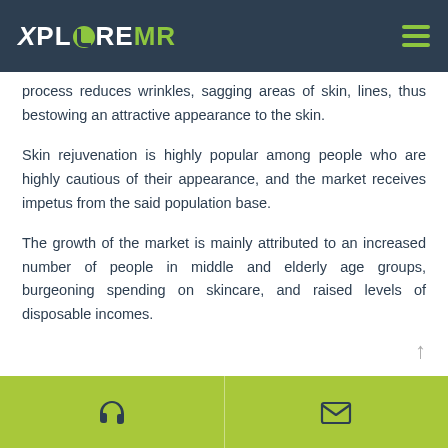XploreMR
process reduces wrinkles, sagging areas of skin, lines, thus bestowing an attractive appearance to the skin.
Skin rejuvenation is highly popular among people who are highly cautious of their appearance, and the market receives impetus from the said population base.
The growth of the market is mainly attributed to an increased number of people in middle and elderly age groups, burgeoning spending on skincare, and raised levels of disposable incomes.
Contact icons: headphone and mail